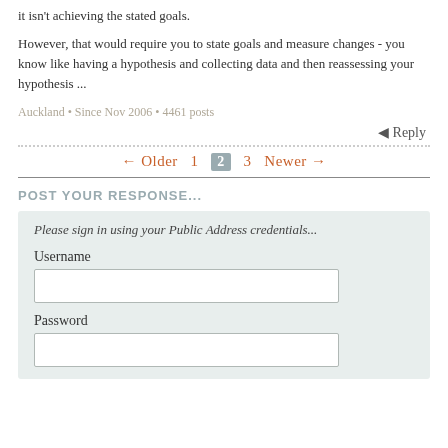it isn't achieving the stated goals.
However, that would require you to state goals and measure changes - you know like having a hypothesis and collecting data and then reassessing your hypothesis ...
Auckland • Since Nov 2006 • 4461 posts
↵ Reply
← Older  1  2  3  Newer →
POST YOUR RESPONSE...
Please sign in using your Public Address credentials...
Username
Password